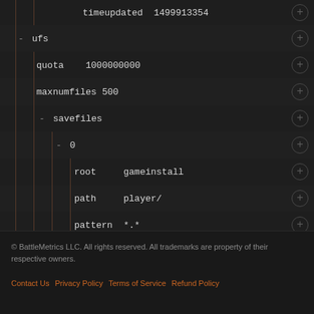timeupdated  1499913354
- ufs
quota    1000000000
maxnumfiles  500
- savefiles
- 0
root    gameinstall
path    player/
pattern  *.*
recursive  1
© BattleMetrics LLC. All rights reserved. All trademarks are property of their respective owners.
Contact Us  Privacy Policy  Terms of Service  Refund Policy